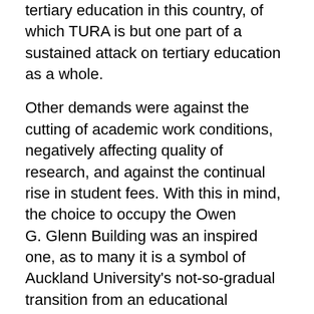tertiary education in this country, of which TURA is but one part of a sustained attack on tertiary education as a whole.
Other demands were against the cutting of academic work conditions, negatively affecting quality of research, and against the continual rise in student fees. With this in mind, the choice to occupy the Owen G. Glenn Building was an inspired one, as to many it is a symbol of Auckland University's not-so-gradual transition from an educational institute to a business.
What is also important to point out is that the occupation consisted